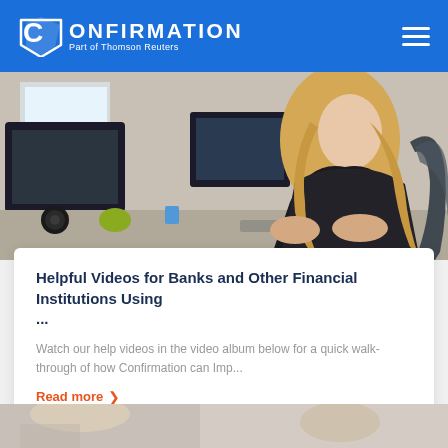CONFIRMATION — Part of Thomson Reuters
[Figure (photo): Office scene showing a woman with blonde hair in a black blazer working at a computer workstation with multiple monitors in an office environment]
Helpful Videos for Banks and Other Financial Institutions Using ...
Watch our help videos in the video album below for a quick walk-through of how Confirmation can Imp...
Read more >
[Figure (photo): Bottom partial image strip showing another article preview]